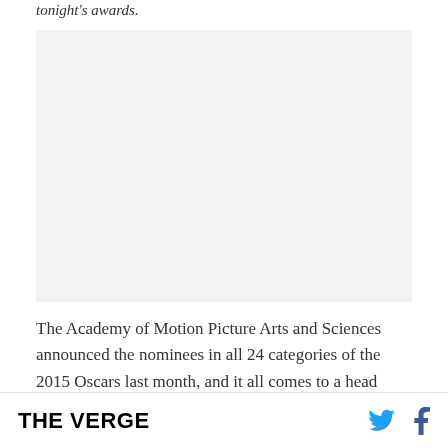tonight's awards.
[Figure (photo): Large image placeholder with light gray background, related to the 2015 Oscars article]
The Academy of Motion Picture Arts and Sciences announced the nominees in all 24 categories of the 2015 Oscars last month, and it all comes to a head
THE VERGE